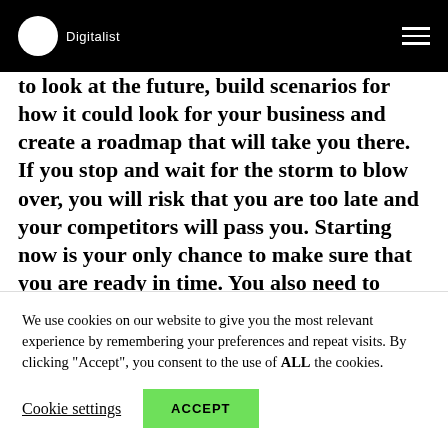Digitalist
to look at the future, build scenarios for how it could look for your business and create a roadmap that will take you there. If you stop and wait for the storm to blow over, you will risk that you are too late and your competitors will pass you. Starting now is your only chance to make sure that you are ready in time. You also need to remember that you can always adjust your plans and roadmaps along the way, and test your way forward. Now could actually be the perfect time to test new ideas and services, since people are
We use cookies on our website to give you the most relevant experience by remembering your preferences and repeat visits. By clicking "Accept", you consent to the use of ALL the cookies.
Cookie settings   ACCEPT